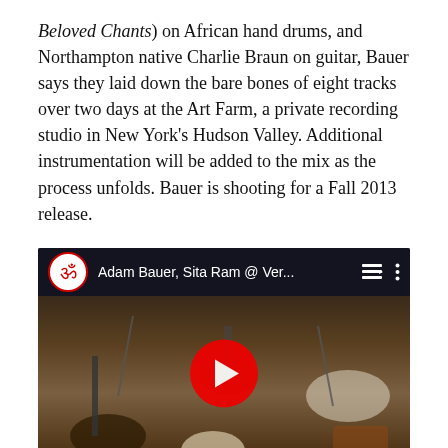Beloved Chants) on African hand drums, and Northampton native Charlie Braun on guitar, Bauer says they laid down the bare bones of eight tracks over two days at the Art Farm, a private recording studio in New York's Hudson Valley. Additional instrumentation will be added to the mix as the process unfolds. Bauer is shooting for a Fall 2013 release.
Here's a taste of Bauer's kirtan prayer from Vermantra 2012 in Burlington, Vt…
[Figure (screenshot): YouTube video thumbnail showing Adam Bauer, Sita Ram @ Ver... with people playing instruments in a room, with a red YouTube play button in the center. The video bar shows an Om symbol logo and the video title.]